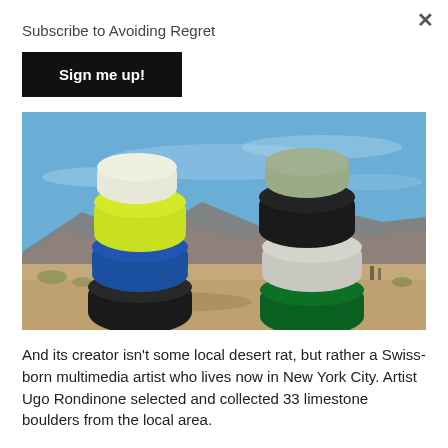Subscribe to Avoiding Regret
Sign me up!
[Figure (photo): Two stacks of colorful painted limestone boulders in a desert landscape under a blue sky. Left stack has neon yellow, blue, and dark/black boulders. Right stack has dark/black, white/grey, and green boulders. Desert scrubland and mountains in the background.]
And its creator isn't some local desert rat, but rather a Swiss-born multimedia artist who lives now in New York City. Artist Ugo Rondinone selected and collected 33 limestone boulders from the local area.